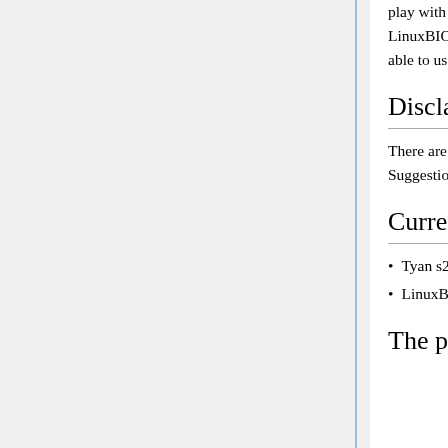play with memory mappings and large devices. I wanted to minimize intermediate steps from LinuxBIOS to Linux to minimize the areas of expertise I needed to develop. I also wanted to be able to use the SATA drives as my boot drives.
Disclaimer
There are several places where my solutions are not as elegant as I wished them to be. Suggestions are welcome.
Current set up
Tyan s2892
LinuxBIOS with Linux 2.6.18-tiny as a payload
The procedure